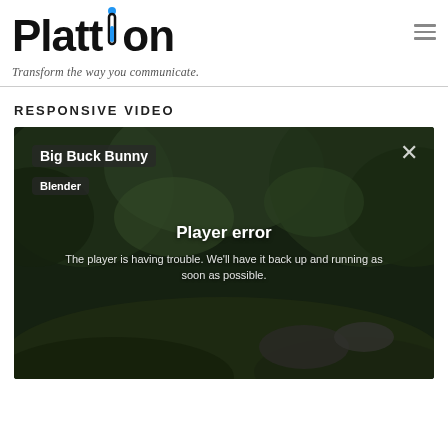Plattion — Transform the way you communicate.
RESPONSIVE VIDEO
[Figure (screenshot): Video player showing 'Big Buck Bunny' by Blender with a player error overlay: 'Player error — The player is having trouble. We'll have it back up and running as soon as possible.']